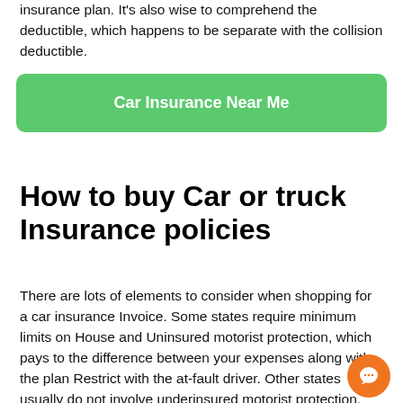insurance plan. It's also wise to comprehend the deductible, which happens to be separate with the collision deductible.
[Figure (other): Green rounded button with white bold text reading 'Car Insurance Near Me']
How to buy Car or truck Insurance policies
There are lots of elements to consider when shopping for a car insurance Invoice. Some states require minimum limits on House and Uninsured motorist protection, which pays to the difference between your expenses along with the plan Restrict with the at-fault driver. Other states usually do not involve underinsured motorist protection. Here are a few strategies that will help you shop for the appropriate insurance policy coverage for your needs. With any luck the entire more luck than the right light their insurance should be...